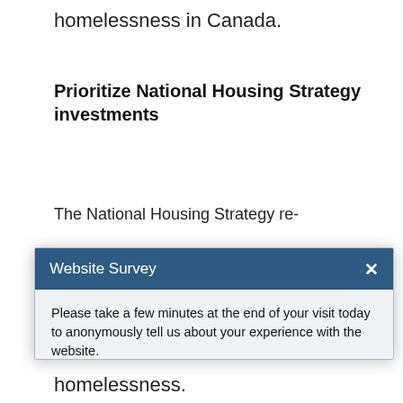homelessness in Canada.
Prioritize National Housing Strategy investments
The National Housing Strategy re-
Website Survey
Please take a few minutes at the end of your visit today to anonymously tell us about your experience with the website.
Choosing “Yes, after my visit” will open a new window that you can return to once you complete your visit on the website.
Yes, after my visit.  No, thank you.
homelessness.